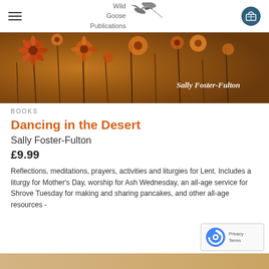Wild Goose Publications
[Figure (photo): Book cover for Dancing in the Desert by Sally Foster-Fulton — warm amber/orange tones with wildflowers and author name in italic white text]
BOOKS
Dancing in the Desert
Sally Foster-Fulton
£9.99
Reflections, meditations, prayers, activities and liturgies for Lent. Includes a liturgy for Mother's Day, worship for Ash Wednesday, an all-age service for Shrove Tuesday for making and sharing pancakes, and other all-age resources -